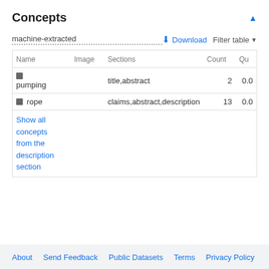Concepts
machine-extracted
Download  Filter table
| Name | Image | Sections | Count | Qu |
| --- | --- | --- | --- | --- |
| pumping |  | title,abstract | 2 | 0.0 |
| rope |  | claims,abstract,description | 13 | 0.0 |
| Show all concepts from the description section |  |  |  |  |
About  Send Feedback  Public Datasets  Terms  Privacy Policy